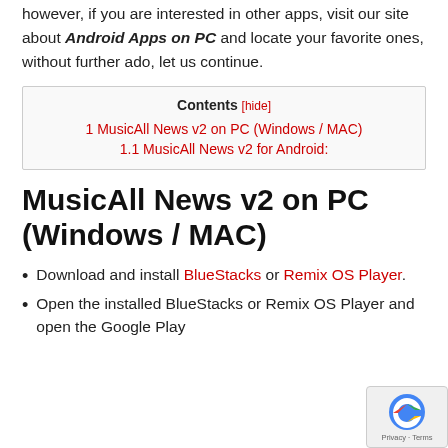however, if you are interested in other apps, visit our site about Android Apps on PC and locate your favorite ones, without further ado, let us continue.
| Contents [hide] |
| --- |
| 1 MusicAll News v2 on PC (Windows / MAC) |
| 1.1 MusicAll News v2 for Android: |
MusicAll News v2 on PC (Windows / MAC)
Download and install BlueStacks or Remix OS Player.
Open the installed BlueStacks or Remix OS Player and open the Google Play Store in it.